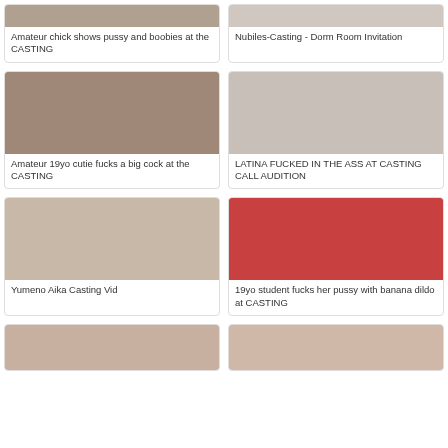[Figure (photo): Thumbnail image - Amateur chick casting]
Amateur chick shows pussy and boobies at the CASTING
[Figure (photo): Thumbnail image - Nubiles Casting Dorm Room]
Nubiles-Casting - Dorm Room Invitation
[Figure (photo): Thumbnail image - Amateur 19yo cutie]
Amateur 19yo cutie fucks a big cock at the CASTING
[Figure (photo): Thumbnail image - Latina casting]
LATINA FUCKED IN THE ASS AT CASTING CALL AUDITION
[Figure (photo): Thumbnail image - Yumeno Aika]
Yumeno Aika Casting Vid
[Figure (photo): Thumbnail image - 19yo student]
19yo student fucks her pussy with banana dildo at CASTING
[Figure (photo): Thumbnail image - bottom left]
[Figure (photo): Thumbnail image - bottom right]